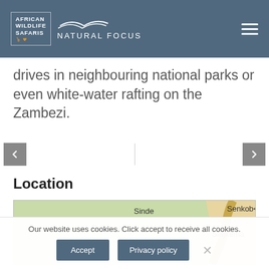African Wildlife Safaris | Natural Focus
drives in neighbouring national parks or even white-water rafting on the Zambezi.
Location
[Figure (map): Map showing location with place names: Bakenga, Sinde, Senkobo, Siajitema]
Our website uses cookies. Click accept to receive all cookies.